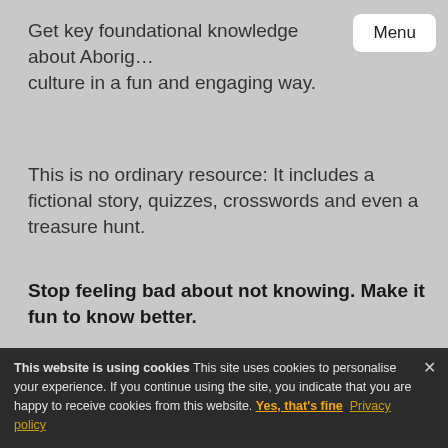Get key foundational knowledge about Aboriginal culture in a fun and engaging way.
[Figure (screenshot): Menu button in top right corner]
This is no ordinary resource: It includes a fictional story, quizzes, crosswords and even a treasure hunt.
Stop feeling bad about not knowing. Make it fun to know better.
[Figure (other): Yellow call-to-action button labeled 'Sold! Show me how']
No, thank you
This website is using cookies This site uses cookies to personalise your experience. If you continue using the site, you indicate that you are happy to receive cookies from this website. Yes, that's fine Privacy policy